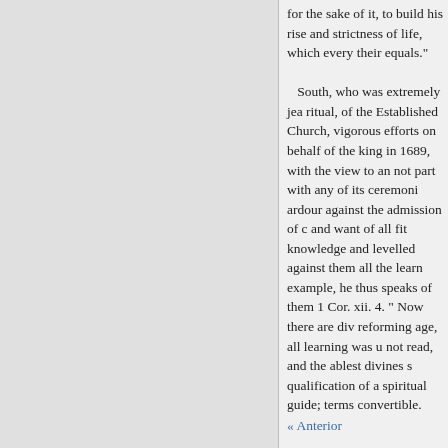for the sake of it, to build his rise and strictness of life, which every their equals."

South, who was extremely jea ritual, of the Established Church, vigorous efforts on behalf of the king in 1689, with the view to an not part with any of its ceremoni ardour against the admission of c and want of all fit knowledge and levelled against them all the learn example, he thus speaks of them 1 Cor. xii. 4. " Now there are div reforming age, all learning was u not read, and the ablest divines s qualification of a spiritual guide; terms convertible. None were tho were allowed to have the Spirit. T hands, and, in a literal sense, driv
« Anterior